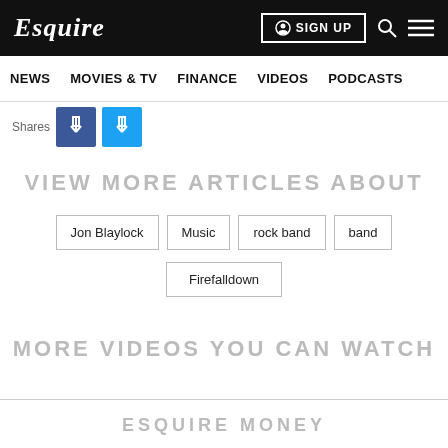Esquire  SIGN UP  NEWS  MOVIES & TV  FINANCE  VIDEOS  PODCASTS
Shares
VIEW MORE ARTICLES ABOUT
Jon Blaylock
Music
rock band
band
Firefalldown
MORE VIDEOS YOU CAN WATCH
ESQUIRE MONEY